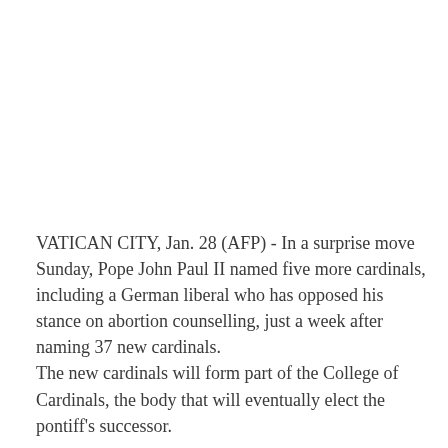VATICAN CITY, Jan. 28 (AFP) - In a surprise move Sunday, Pope John Paul II named five more cardinals, including a German liberal who has opposed his stance on abortion counselling, just a week after naming 37 new cardinals. The new cardinals will form part of the College of Cardinals, the body that will eventually elect the pontiff's successor.
They will be confirmed Feb. 21 at a consistory, a